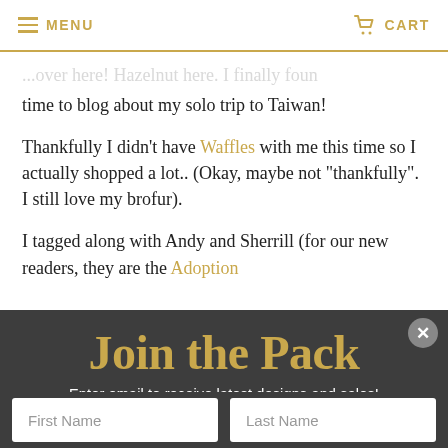MENU   CART
...over here! Hazelnut here. I finally found time to blog about my solo trip to Taiwan!
Thankfully I didn't have Waffles with me this time so I actually shopped a lot.. (Okay, maybe not "thankfully". I still love my brofur).
I tagged along with Andy and Sherrill (for our new readers, they are the Adoption
Join the Pack
Enter email to receive latest designs and sales!
First Name
Last Name